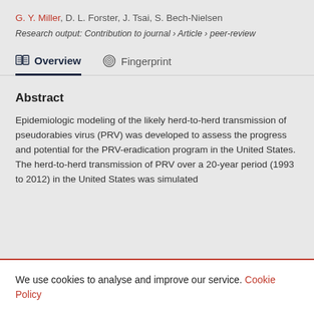G. Y. Miller, D. L. Forster, J. Tsai, S. Bech-Nielsen
Research output: Contribution to journal › Article › peer-review
Overview   Fingerprint
Abstract
Epidemiologic modeling of the likely herd-to-herd transmission of pseudorabies virus (PRV) was developed to assess the progress and potential for the PRV-eradication program in the United States. The herd-to-herd transmission of PRV over a 20-year period (1993 to 2012) in the United States was simulated
We use cookies to analyse and improve our service. Cookie Policy